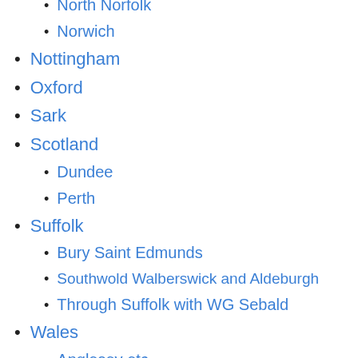North Norfolk
Norwich
Nottingham
Oxford
Sark
Scotland
Dundee
Perth
Suffolk
Bury Saint Edmunds
Southwold Walberswick and Aldeburgh
Through Suffolk with WG Sebald
Wales
Anglesey etc
Denbigh
Haverfordwest
Pembrokeshire and Carmarthenshire